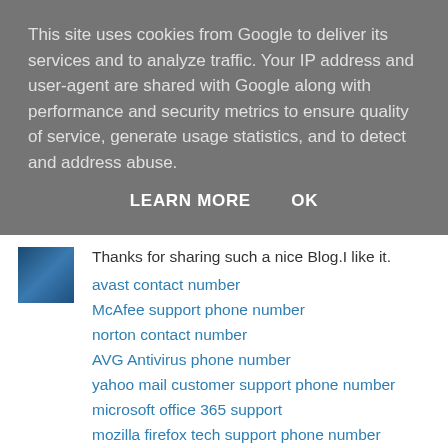This site uses cookies from Google to deliver its services and to analyze traffic. Your IP address and user-agent are shared with Google along with performance and security metrics to ensure quality of service, generate usage statistics, and to detect and address abuse.
LEARN MORE   OK
Thanks for sharing such a nice Blog.I like it.
avast contact number
McAfee support phone number
norton contact number
AVG Antivirus phone number
yahoo mail customer support phone number
microsoft office 365 support
mozilla firefox tech support phone number
microsoft edge customer service
Reply
aryanoone 9 December 2019 at 02:13
Thanks for sharing such a nice Blog.I like it.